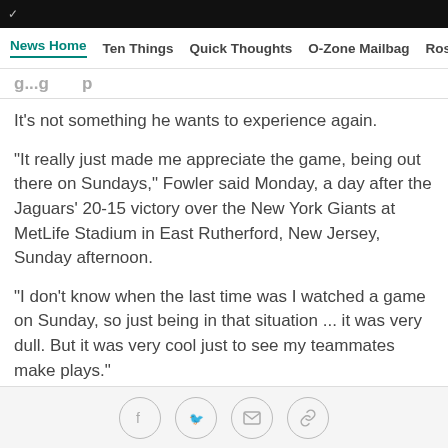News Home  Ten Things  Quick Thoughts  O-Zone Mailbag  Ros
It's not something he wants to experience again.
"It really just made me appreciate the game, being out there on Sundays," Fowler said Monday, a day after the Jaguars' 20-15 victory over the New York Giants at MetLife Stadium in East Rutherford, New Jersey, Sunday afternoon.
"I don't know when the last time was I watched a game on Sunday, so just being in that situation ... it was very dull. But it was very cool just to see my teammates make plays."
Social share icons: Facebook, Twitter, Email, Link